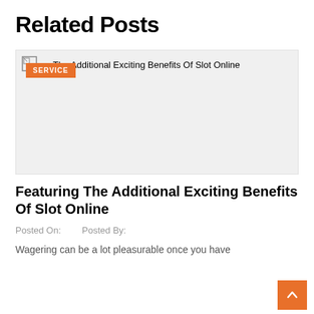Related Posts
[Figure (photo): Placeholder image area with orange SERVICE badge overlay and broken image icon. Title text 'Featuring The Additional Exciting Benefits Of Slot Online' overlaid at top.]
Featuring The Additional Exciting Benefits Of Slot Online
Posted On:    Posted By:
Wagering can be a lot pleasurable once you have